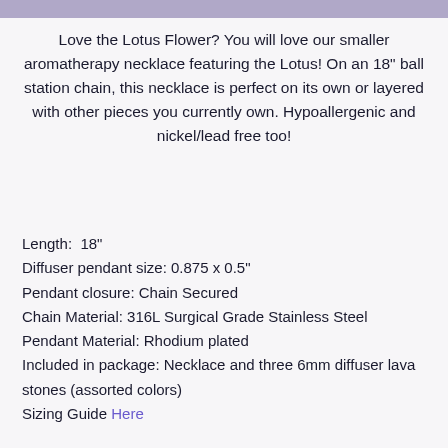[Figure (other): Purple decorative bar at top of page]
Love the Lotus Flower? You will love our smaller aromatherapy necklace featuring the Lotus! On an 18" ball station chain, this necklace is perfect on its own or layered with other pieces you currently own. Hypoallergenic and nickel/lead free too!
Length:  18"
Diffuser pendant size: 0.875 x 0.5"
Pendant closure: Chain Secured
Chain Material: 316L Surgical Grade Stainless Steel
Pendant Material: Rhodium plated
Included in package: Necklace and three 6mm diffuser lava stones (assorted colors)
Sizing Guide Here